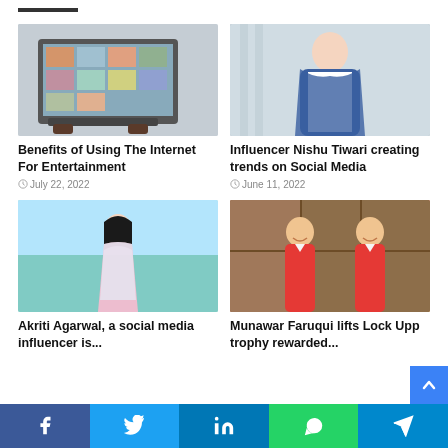[Figure (photo): Hands typing on a laptop showing a grid of images, desk background]
[Figure (photo): Woman in blue blazer and white shirt standing outdoors]
Benefits of Using The Internet For Entertainment
July 22, 2022
Influencer Nishu Tiwari creating trends on Social Media
June 11, 2022
[Figure (photo): Young woman in colorful dress at beach]
[Figure (photo): Two men in orange shirts smiling in a studio setting]
Akriti Agarwal, a social media influencer is...
Munawar Faruqui lifts Lock Upp trophy rewarded...
Facebook Twitter LinkedIn WhatsApp Telegram